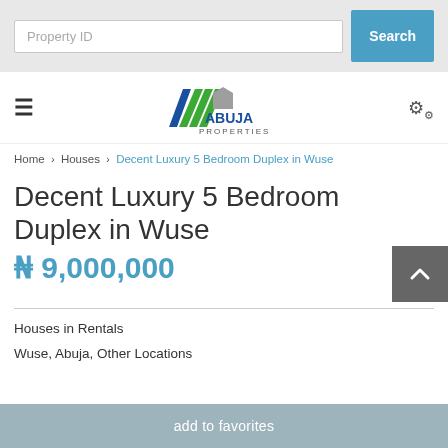Property ID [search input] Search
[Figure (logo): Abuja Properties logo with green and blue chevron/house icon and text ABUJA PROPERTIES]
Home > Houses > Decent Luxury 5 Bedroom Duplex in Wuse
Decent Luxury 5 Bedroom Duplex in Wuse
₦9,000,000
Houses in Rentals
Wuse, Abuja, Other Locations
add to favorites